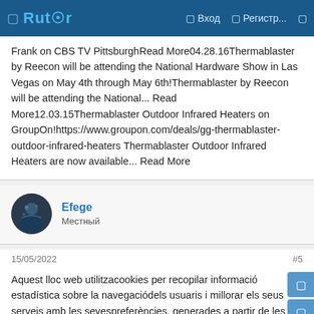Rutor | Вход | Регистр...
Frank on CBS TV PittsburghRead More04.28.16Thermablaster by Reecon will be attending the National Hardware Show in Las Vegas on May 4th through May 6th!Thermablaster by Reecon will be attending the National... Read More12.03.15Thermablaster Outdoor Infrared Heaters on GroupOn!https://www.groupon.com/deals/gg-thermablaster-outdoor-infrared-heaters Thermablaster Outdoor Infrared Heaters are now available... Read More
Efege
Местный
15/05/2022
#5
Aquest lloc web utilitzacookies per recopilar informació estadística sobre la navegaciódels usuaris i millorar els seus serveis amb les sevespreferències, generades a partir de les vostres pautes denavegació. Podeu consultar la seva configuració a la nostraPoliticade Cookies Acceptar © 2002-22